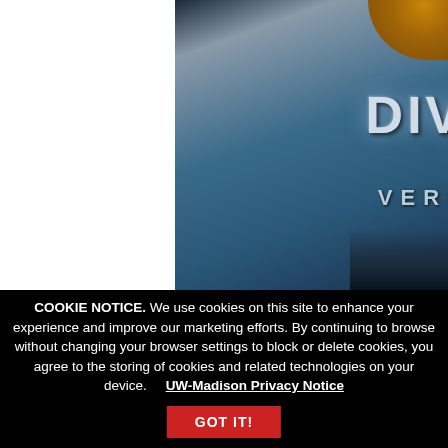[Figure (photo): Book cover of 'Divergent' by Veronica Roth, showing the title text 'DIVERGENT' and author name 'VERONICA R...' on a blue-teal background with a gold decorative element at top right and city silhouette at the bottom. Left portion of page is white.]
COOKIE NOTICE. We use cookies on this site to enhance your experience and improve our marketing efforts. By continuing to browse without changing your browser settings to block or delete cookies, you agree to the storing of cookies and related technologies on your device.    UW-Madison Privacy Notice
GOT IT!